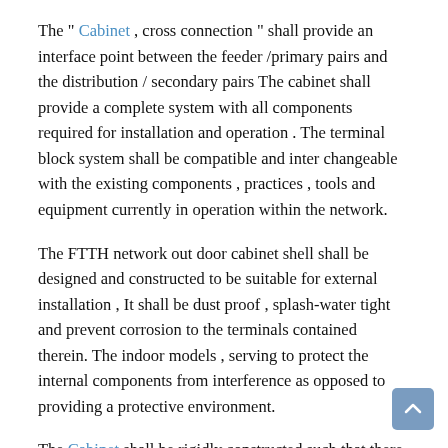The " Cabinet , cross connection " shall provide an interface point between the feeder /primary pairs and the distribution / secondary pairs The cabinet shall provide a complete system with all components required for installation and operation . The terminal block system shall be compatible and inter changeable with the existing components , practices , tools and equipment currently in operation within the network.
The FTTH network out door cabinet shell shall be designed and constructed to be suitable for external installation , It shall be dust proof , splash-water tight and prevent corrosion to the terminals contained therein. The indoor models , serving to protect the internal components from interference as opposed to providing a protective environment.
The Cabinet shall be rigidly constructed such that there is no flexing or movement of the cabinet when cross-connection wires are being terminated. The design of the interior and wire